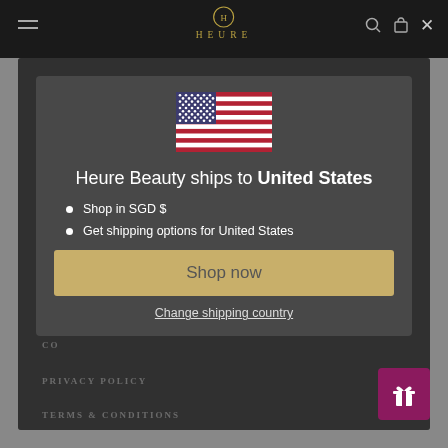HEURE
ABOUT HEURE
PROLOGUE
OUR
OUR CLINICAL RESULTS
HOW CAN WE HELP
FAQS
CO
PRIVACY POLICY
TERMS & CONDITIONS
[Figure (infographic): US flag emoji above modal dialog]
Heure Beauty ships to United States
Shop in SGD $
Get shipping options for United States
Shop now
Change shipping country